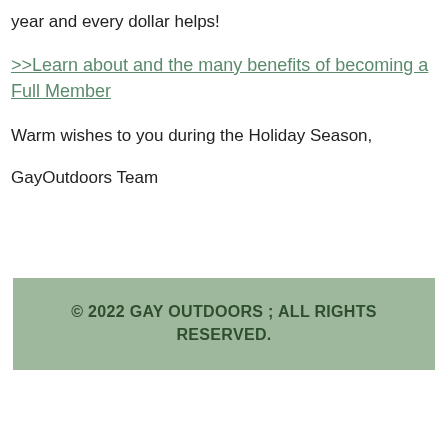year and every dollar helps!
>>Learn about and the many benefits of becoming a Full Member
Warm wishes to you during the Holiday Season,
GayOutdoors Team
© 2022 GAY OUTDOORS ; ALL RIGHTS RESERVED.